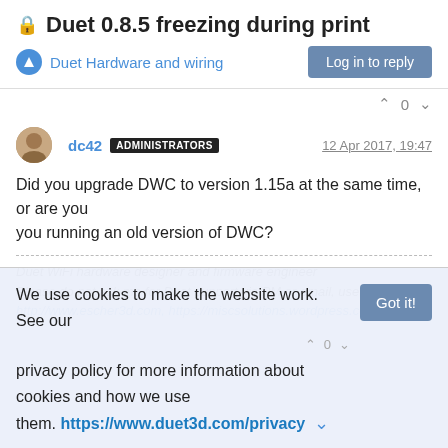Duet 0.8.5 freezing during print
Duet Hardware and wiring
Log in to reply
0
dc42  ADMINISTRATORS  12 Apr 2017, 19:47
Did you upgrade DWC to version 1.15a at the same time, or are you running an old version of DWC?
Duet WiFi hardware designer and firmware engineer
Please do not ask me for Duet support via PM or email, use the forum
http://www.escher3d.com, https://miscsolutions.wordpress.com
We use cookies to make the website work. See our privacy policy for more information about cookies and how we use them. https://www.duet3d.com/privacy